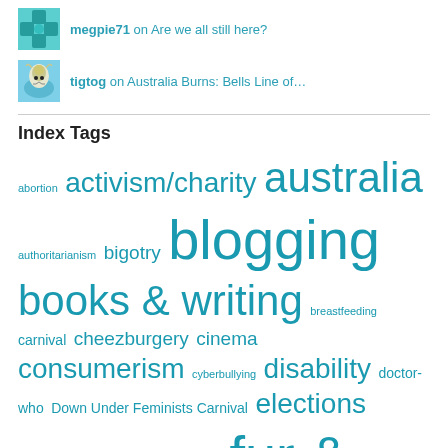megpie71 on Are we all still here?
tigtog on Australia Burns: Bells Line of…
Index Tags
abortion activism/charity australia authoritarianism bigotry blogging books & writing breastfeeding carnival cheezburgery cinema consumerism cyberbullying disability doctor-who Down Under Feminists Carnival elections exploitation family feminists Food/Drink fur & fluff gendered roles gratuitous ogling hoydens indigenous LOLcats macros media circus moral panics music